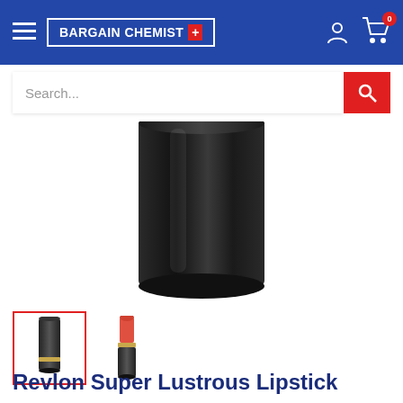BARGAIN CHEMIST — navigation header with logo and cart icon showing 0 items
[Figure (screenshot): Search bar with placeholder text 'Search...' and red search button]
[Figure (photo): Close-up of black cylindrical lipstick cap (Revlon), cropped — only the bottom/body of the cap visible]
[Figure (photo): Thumbnail 1 (selected, red border): Revlon black lipstick tube closed]
[Figure (photo): Thumbnail 2: Revlon lipstick open showing coral/red lipstick bullet with gold band]
Revlon Super Lustrous Lipstick